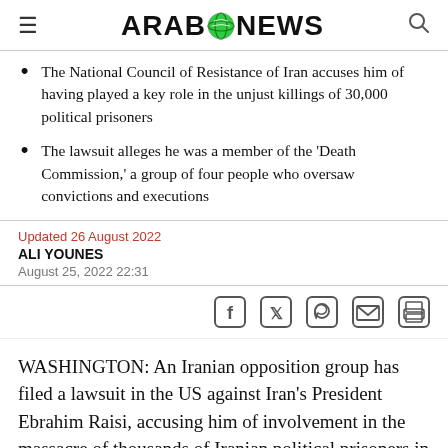ARAB NEWS
The National Council of Resistance of Iran accuses him of having played a key role in the unjust killings of 30,000 political prisoners
The lawsuit alleges he was a member of the 'Death Commission,' a group of four people who oversaw convictions and executions
Updated 26 August 2022
ALI YOUNES
August 25, 2022 22:31
[Figure (other): Social share icons: Facebook, Twitter, WhatsApp, Email, Print]
WASHINGTON: An Iranian opposition group has filed a lawsuit in the US against Iran's President Ebrahim Raisi, accusing him of involvement in the massacre of thousands of Iranian political prisoners in 1988.